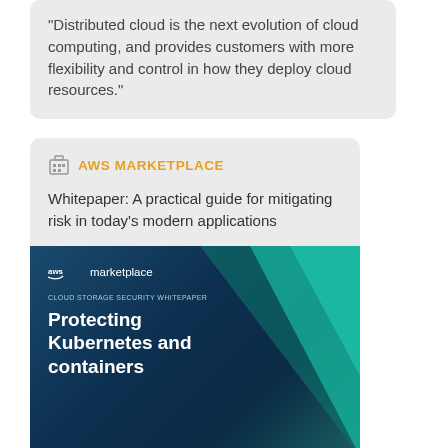"Distributed cloud is the next evolution of cloud computing, and provides customers with more flexibility and control in how they deploy cloud resources."
AWS MARKETPLACE
Whitepaper: A practical guide for mitigating risk in today's modern applications
[Figure (illustration): AWS Marketplace whitepaper cover image with dark teal background, teal geometric triangle shape on the right, aws marketplace logo at top left, subtitle 'CLOUD STORAGE SECURITY WHITEPAPER', and main title 'Protecting Kubernetes and containers' in white bold text.]
Protect Kubernetes and Containerized Workloads at Scale